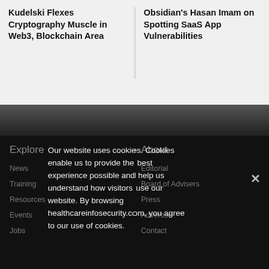Kudelski Flexes Cryptography Muscle in Web3, Blockchain Area
Obsidian's Hasan Imam on Spotting SaaS App Vulnerabilities
Explore
About
News
Editorial
Training
Board of Advisers
Resources
Press
Events
Advertise
Jobs
Contact
Our website uses cookies. Cookies enable us to provide the best experience possible and help us understand how visitors use our website. By browsing healthcareinfosecurity.com, you agree to our use of cookies.